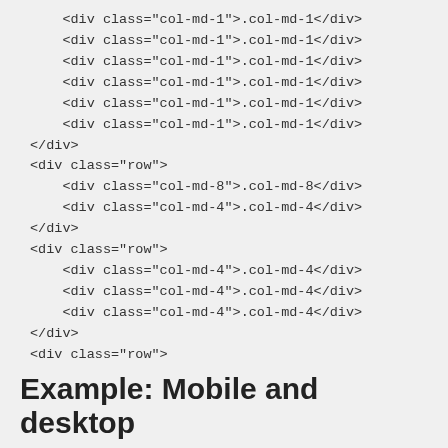<div class="col-md-1">.col-md-1</div>
    <div class="col-md-1">.col-md-1</div>
    <div class="col-md-1">.col-md-1</div>
    <div class="col-md-1">.col-md-1</div>
    <div class="col-md-1">.col-md-1</div>
    <div class="col-md-1">.col-md-1</div>
</div>
<div class="row">
    <div class="col-md-8">.col-md-8</div>
    <div class="col-md-4">.col-md-4</div>
</div>
<div class="row">
    <div class="col-md-4">.col-md-4</div>
    <div class="col-md-4">.col-md-4</div>
    <div class="col-md-4">.col-md-4</div>
</div>
<div class="row">
    <div class="col-md-6">.col-md-6</div>
    <div class="col-md-6">.col-md-6</div>
</div>
Example: Mobile and desktop